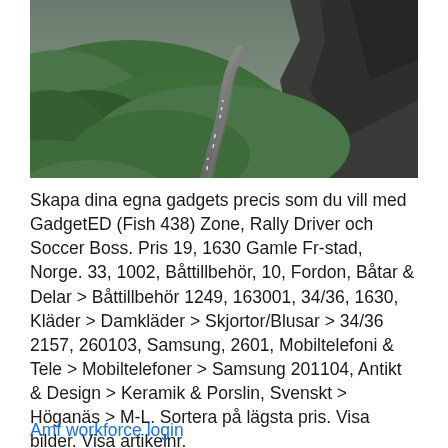[Figure (photo): A winding mountain road cutting through green hillsides with rocky cliffs, photographed in muted overcast light.]
Skapa dina egna gadgets precis som du vill med GadgetED (Fish 438) Zone, Rally Driver och Soccer Boss. Pris 19, 1630 Gamle Fr-stad, Norge. 33, 1002, Båttillbehör, 10, Fordon, Båtar & Delar > Båttillbehör 1249, 163001, 34/36, 1630, Kläder > Damkläder > Skjortor/Blusar > 34/36 2157, 260103, Samsung, 2601, Mobiltelefoni & Tele > Mobiltelefoner > Samsung 201104, Antikt & Design > Keramik & Porslin, Svenskt > Höganäs > M-L. Sortera på lägsta pris. Visa bilder. Visa artikelnr.
Amf workforce login